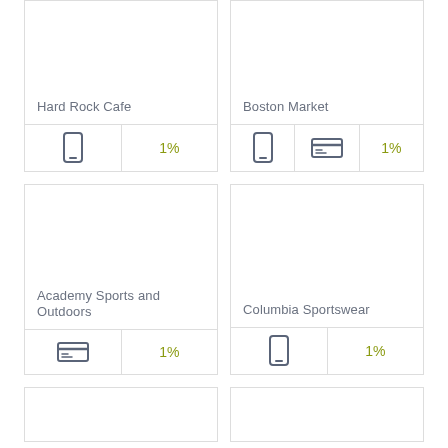Hard Rock Cafe
1%
Boston Market
1%
Academy Sports and Outdoors
1%
Columbia Sportswear
1%